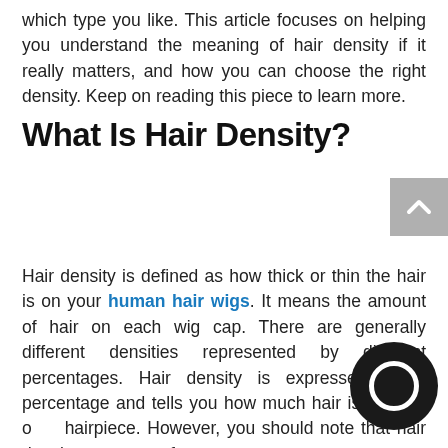which type you like. This article focuses on helping you understand the meaning of hair density if it really matters, and how you can choose the right density. Keep on reading this piece to learn more.
What Is Hair Density?
[Figure (other): Gray back-to-top button with upward chevron arrow]
Hair density is defined as how thick or thin the hair is on your human hair wigs. It means the amount of hair on each wig cap. There are generally different densities represented by different percentages. Hair density is expressed as a percentage and tells you how much hair is actually on a hairpiece. However, you should note that hair density does not refer to texture.